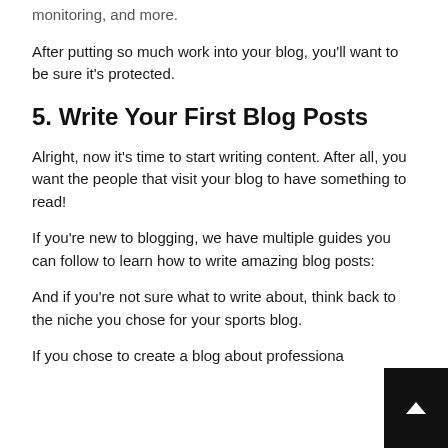monitoring, and more.
After putting so much work into your blog, you'll want to be sure it's protected.
5. Write Your First Blog Posts
Alright, now it's time to start writing content. After all, you want the people that visit your blog to have something to read!
If you're new to blogging, we have multiple guides you can follow to learn how to write amazing blog posts:
And if you're not sure what to write about, think back to the niche you chose for your sports blog.
If you chose to create a blog about professiona...